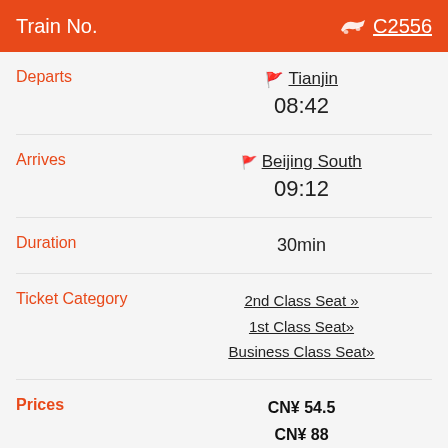Train No. C2556
| Field | Value |
| --- | --- |
| Departs | Tianjin
08:42 |
| Arrives | Beijing South
09:12 |
| Duration | 30min |
| Ticket Category | 2nd Class Seat »
1st Class Seat»
Business Class Seat» |
| Prices | CN¥ 54.5
CN¥ 88
CN¥ 174 |
| Tickets Available | 21
16
5 |